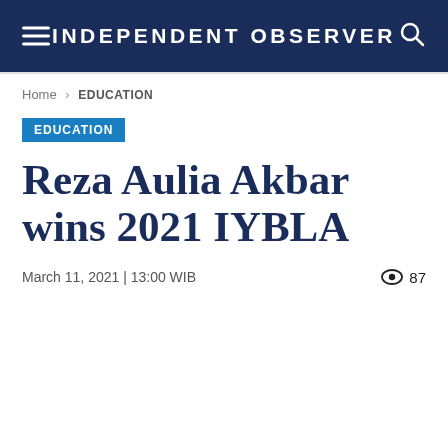INDEPENDENT OBSERVER
Home › EDUCATION
EDUCATION
Reza Aulia Akbar wins 2021 IYBLA
March 11, 2021 | 13:00 WIB   87